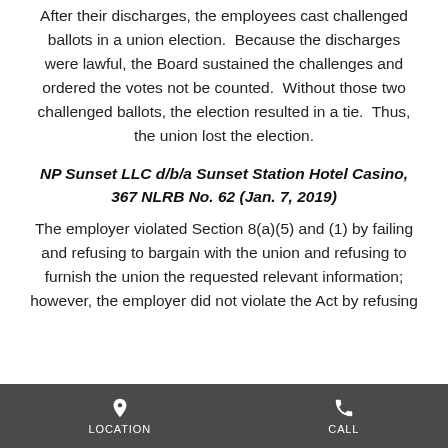After their discharges, the employees cast challenged ballots in a union election. Because the discharges were lawful, the Board sustained the challenges and ordered the votes not be counted. Without those two challenged ballots, the election resulted in a tie. Thus, the union lost the election.
NP Sunset LLC d/b/a Sunset Station Hotel Casino, 367 NLRB No. 62 (Jan. 7, 2019)
The employer violated Section 8(a)(5) and (1) by failing and refusing to bargain with the union and refusing to furnish the union the requested relevant information; however, the employer did not violate the Act by refusing
LOCATION   CALL